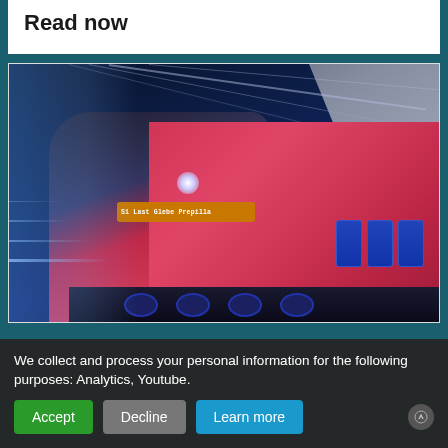Read now
[Figure (photo): A modern red metro/train photographed from a low angle at night in a station, with motion blur effects showing speed, blue ambient lighting, and the destination display lit in orange reading 'S1 Last Glebe Prepilla'.]
We collect and process your personal information for the following purposes: Analytics, Youtube.
Accept
Decline
Learn more